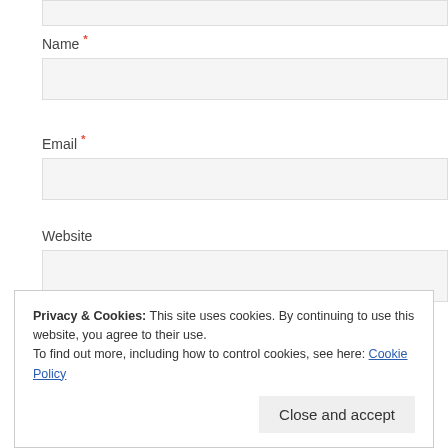Name *
Email *
Website
Notify me of follow-up comments by email.
Notify me of new posts by email.
Post Comment
This site uses Akismet to reduce spam. Learn how your comment...
Privacy & Cookies: This site uses cookies. By continuing to use this website, you agree to their use.
To find out more, including how to control cookies, see here: Cookie Policy
Close and accept